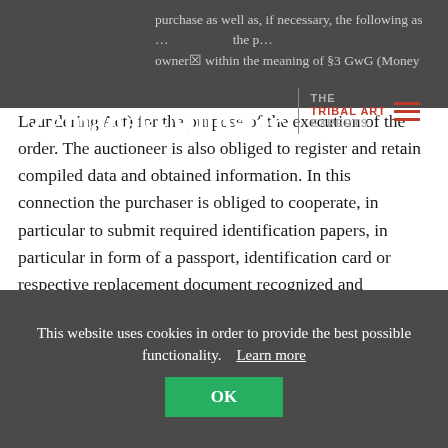Zemanek-Münster | THE TRIBAL ART EXPERTS
purchase as well as, if necessary, the following as … owner within the meaning of §3 GwG (Money Laundering Act) for the purpose of the execution of the order. The auctioneer is also obliged to register and retain compiled data and obtained information. In this connection the purchaser is obliged to cooperate, in particular to submit required identification papers, in particular in form of a passport, identification card or respective replacement document recognized and authorized by domestic authorities or in line with laws concerning aliens. The auctioneer is authorized to make a copy there of by observing data protection regulations. Legal persons or
This website uses cookies in order to provide the best possible functionality.   Learn more
OK